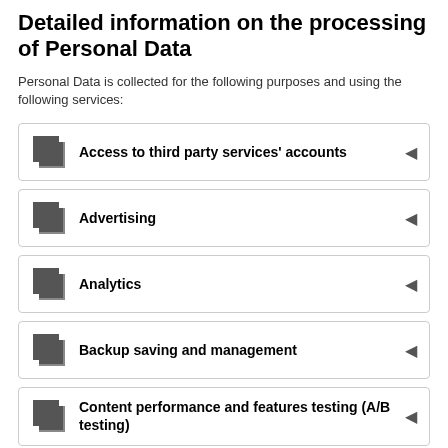Detailed information on the processing of Personal Data
Personal Data is collected for the following purposes and using the following services:
Access to third party services' accounts
Advertising
Analytics
Backup saving and management
Content performance and features testing (A/B testing)
Data transfer outside the EU